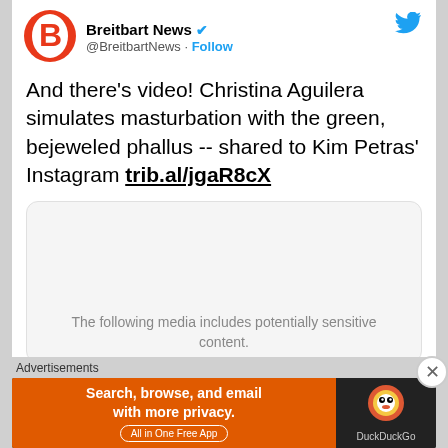[Figure (logo): Breitbart News logo - red circle with white B]
Breitbart News ✓ @BreeitbartNews · Follow
And there's video! Christina Aguilera simulates masturbation with the green, bejeweled phallus -- shared to Kim Petras' Instagram trib.al/jgaR8cX
[Figure (screenshot): Media placeholder box with text: The following media includes potentially sensitive content.]
Advertisements
[Figure (screenshot): DuckDuckGo advertisement banner: Search, browse, and email with more privacy. All in One Free App]